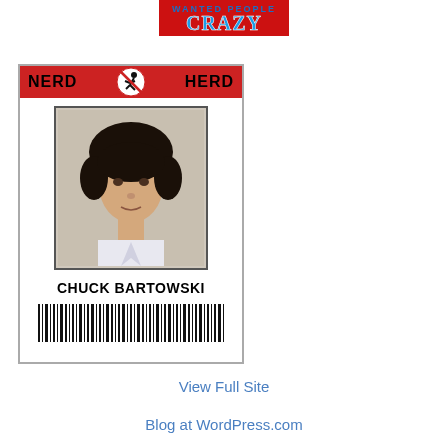[Figure (logo): CRAZY logo with red background and blue stylized text]
[Figure (illustration): Nerd Herd ID badge for Chuck Bartowski with red header, photo of young man with dark curly hair, name, and barcode]
View Full Site
Blog at WordPress.com